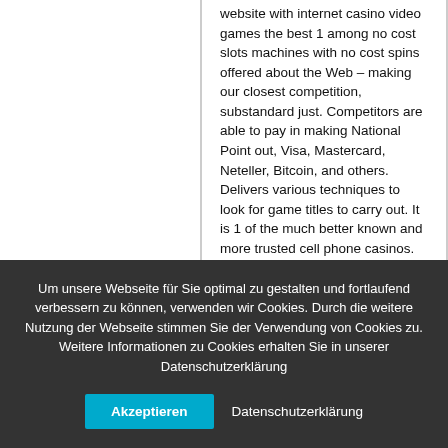website with internet casino video games the best 1 among no cost slots machines with no cost spins offered about the Web – making our closest competition, substandard just. Competitors are able to pay in making National Point out, Visa, Mastercard, Neteller, Bitcoin, and others. Delivers various techniques to look for game titles to carry out. It is 1 of the much better known and more trusted cell phone casinos.
Um unsere Webseite für Sie optimal zu gestalten und fortlaufend verbessern zu können, verwenden wir Cookies. Durch die weitere Nutzung der Webseite stimmen Sie der Verwendung von Cookies zu. Weitere Informationen zu Cookies erhalten Sie in unserer Datenschutzerklärung
Akzeptieren
Datenschutzerklärung